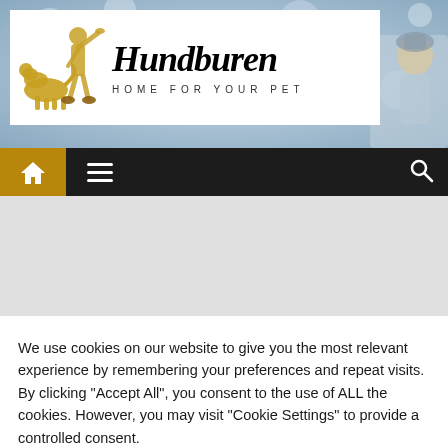[Figure (logo): Hundburen logo: white rectangle with silhouette of person training a dog in gold/tan, large bold serif text 'Hundburen' and subtitle 'HOME FOR YOUR PET'. Behind the logo box is a blurred winter outdoor background with a partially visible woman in winter clothing on the right side.]
[Figure (screenshot): Navigation bar with dark/black background, amber/gold home button with house icon on left, hamburger menu icon, and search icon on right.]
[Figure (screenshot): Gray content area below nav bar (advertisement or empty space).]
We use cookies on our website to give you the most relevant experience by remembering your preferences and repeat visits. By clicking "Accept All", you consent to the use of ALL the cookies. However, you may visit "Cookie Settings" to provide a controlled consent.